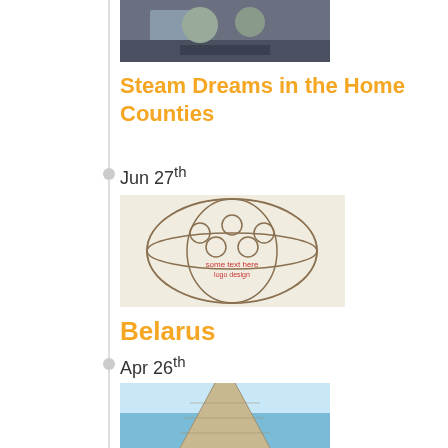[Figure (photo): Photo of people dining at a restaurant, partially cropped at top]
Steam Dreams in the Home Counties
Jun 27th
[Figure (photo): Circular globe/map logo or diagram with text]
Belarus
Apr 26th
[Figure (photo): Photo of a wooden pier/dock extending into turquoise water]
Somabay: Egypt
Mar 27th
[Figure (photo): Photo partially visible at bottom of page, appears to be food]